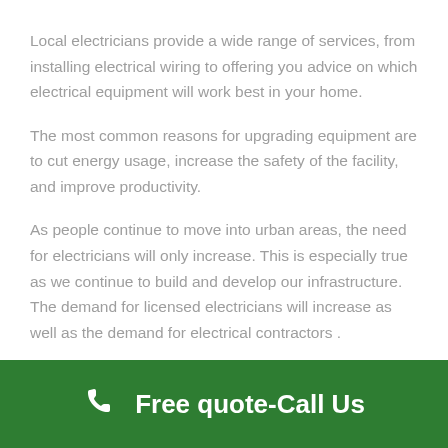Local electricians provide a wide range of services, from installing electrical wiring to offering you advice on which electrical equipment will work best in your home.
The most common reasons for upgrading equipment are to cut energy usage, increase the safety of the facility, and improve productivity.
As people continue to move into urban areas, the need for electricians will only increase. This is especially true as we continue to build and develop our infrastructure. The demand for licensed electricians will increase as well as the demand for electrical contractors .
Along with this increase in demand, there will also be an
Free quote-Call Us